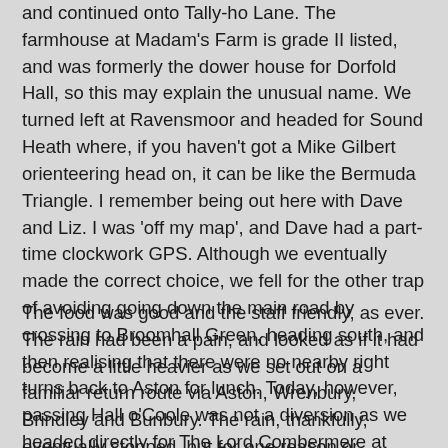and continued onto Tally-ho Lane. The farmhouse at Madam's Farm is grade II listed, and was formerly the dower house for Dorfold Hall, so this may explain the unusual name. We turned left at Ravensmoor and headed for Sound Heath where, if you haven't got a Mike Gilbert orienteering head on, it can be like the Bermuda Triangle. I remember being out here with Dave and Liz. I was 'off my map', and Dave had a part-time clockwork GPS. Although we eventually made the correct choice, we fell for the other trap of avoiding going down the main road by crossing to Broomhall Green, heading south, and then realising that there were no nearby right turns back to Aston for lunch. Today, however, passing Hall o'Coole was not a diversion as we headed directly for The Lord Combermere at Audlem.
The food was good and the staff friendly, as ever. The rain had been a pain, and looked as if it had become a little heavier as we set out on a familiar return route via Aston, Wrenbury, Brindley and Bunbury. The rain, thankfully, eventually stopped, but for one reason or another we didn't partake at Tilly's, and we went our different ways home. Steve and I were left with the stiff climbs around Tilstone